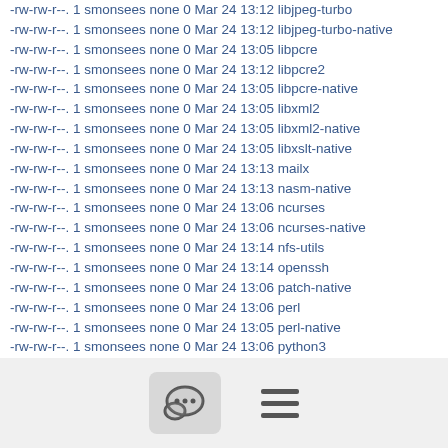-rw-rw-r--. 1 smonsees none 0 Mar 24 13:12 libjpeg-turbo
-rw-rw-r--. 1 smonsees none 0 Mar 24 13:12 libjpeg-turbo-native
-rw-rw-r--. 1 smonsees none 0 Mar 24 13:05 libpcre
-rw-rw-r--. 1 smonsees none 0 Mar 24 13:12 libpcre2
-rw-rw-r--. 1 smonsees none 0 Mar 24 13:05 libpcre-native
-rw-rw-r--. 1 smonsees none 0 Mar 24 13:05 libxml2
-rw-rw-r--. 1 smonsees none 0 Mar 24 13:05 libxml2-native
-rw-rw-r--. 1 smonsees none 0 Mar 24 13:05 libxslt-native
-rw-rw-r--. 1 smonsees none 0 Mar 24 13:13 mailx
-rw-rw-r--. 1 smonsees none 0 Mar 24 13:13 nasm-native
-rw-rw-r--. 1 smonsees none 0 Mar 24 13:06 ncurses
-rw-rw-r--. 1 smonsees none 0 Mar 24 13:06 ncurses-native
-rw-rw-r--. 1 smonsees none 0 Mar 24 13:14 nfs-utils
-rw-rw-r--. 1 smonsees none 0 Mar 24 13:14 openssh
-rw-rw-r--. 1 smonsees none 0 Mar 24 13:06 patch-native
-rw-rw-r--. 1 smonsees none 0 Mar 24 13:06 perl
-rw-rw-r--. 1 smonsees none 0 Mar 24 13:05 perl-native
-rw-rw-r--. 1 smonsees none 0 Mar 24 13:06 python3
-rw-rw-r--. 1 smonsees none 0 Mar 24 13:06 python3-native